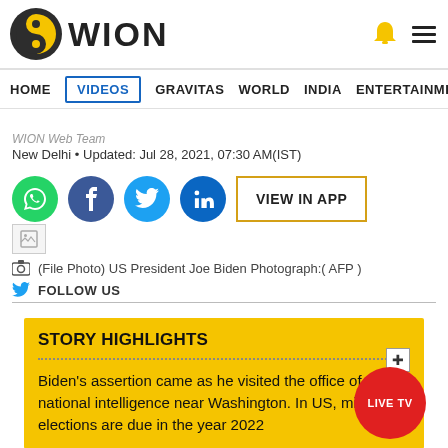WION
HOME | VIDEOS | GRAVITAS | WORLD | INDIA | ENTERTAINMENT | SPORTS
WION Web Team
New Delhi • Updated: Jul 28, 2021, 07:30 AM(IST)
[Figure (screenshot): Social sharing buttons: WhatsApp, Facebook, Twitter, LinkedIn, and VIEW IN APP button]
[Figure (photo): Small broken image placeholder]
(File Photo) US President Joe Biden Photograph:( AFP )
FOLLOW US
STORY HIGHLIGHTS
Biden's assertion came as he visited the office of the national intelligence near Washington. In US, midterm elections are due in the year 2022